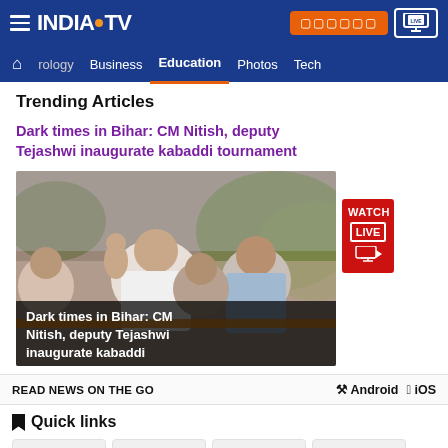INDIA TV - Navigation header with hamburger menu, Hindi button, and LIVE TV button
Home | rology | Business | Education | Photos | Tech
Trending Articles
Dark times in Bihar: CM Nitish, deputy Tejashwi inaugurate kabaddi tournament
[Figure (photo): Photo of CM Nitish Kumar and deputy Tejashwi at kabaddi tournament inauguration with caption overlay: 'Dark times in Bihar: CM Nitish, deputy Tejashwi inaugurate kabaddi']
READ NEWS ON THE GO   Android   iOS
Quick links
About Us
Contact Us
Mobile Zone
Advertise